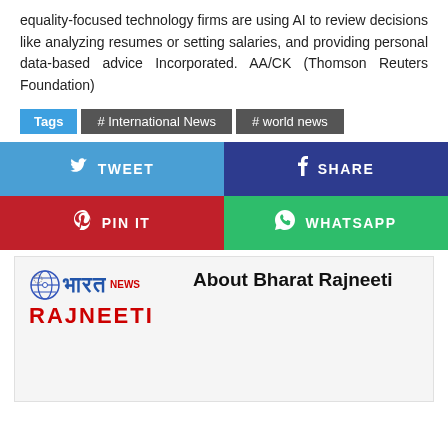equality-focused technology firms are using AI to review decisions like analyzing resumes or setting salaries, and providing personal data-based advice Incorporated. AA/CK (Thomson Reuters Foundation)
Tags  # International News  # world news
[Figure (infographic): Social share buttons: TWEET (blue), SHARE (dark blue), PIN IT (red), WHATSAPP (green)]
[Figure (logo): About Bharat Rajneeti section with logo showing a globe icon, Hindi text 'भारत' in blue, NEWS superscript in red, and RAJNEETI in red below]